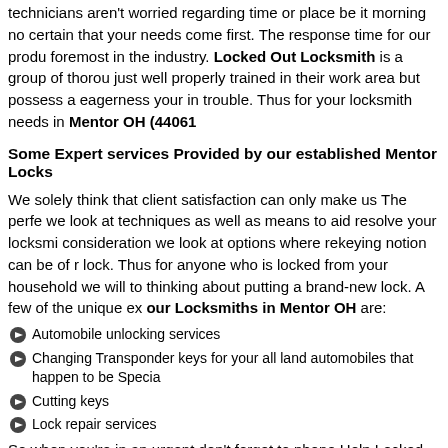technicians aren't worried regarding time or place be it morning no certain that your needs come first. The response time for our produ foremost in the industry. Locked Out Locksmith is a group of thorou just well properly trained in their work area but possess a eagerness your in trouble. Thus for your locksmith needs in Mentor OH (4406
Some Expert services Provided by our established Mentor Locks
We solely think that client satisfaction can only make us The perfe we look at techniques as well as means to aid resolve your locksmi consideration we look at options where rekeying notion can be of r lock. Thus for anyone who is locked from your household we will to thinking about putting a brand-new lock. A few of the unique ex our Locksmiths in Mentor OH are:
Automobile unlocking services
Changing Transponder keys for your all land automobiles that happen to be Specia
Cutting keys
Lock repair services
So when you're in an urgent don't forget to phone Help Locked Ou
Zip : 44060, 44061
Areacode : 440
State : Ohio